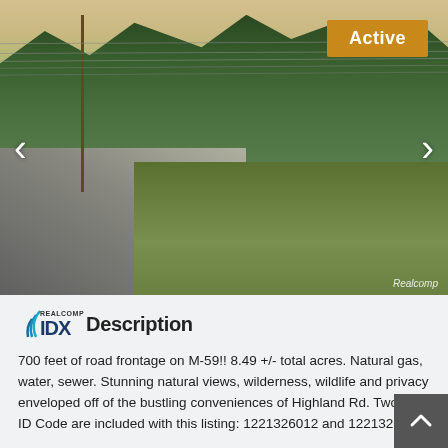[Figure (photo): Street-level view of a roadside property with power lines, trees, green field/grass area, road in foreground. 'Active' badge in upper right corner.]
IDX Description
700 feet of road frontage on M-59!! 8.49 +/- total acres. Natural gas, water, sewer. Stunning natural views, wilderness, wildlife and privacy enveloped off of the bustling conveniences of Highland Rd. Two Tax ID Code are included with this listing: 1221326012 and 1221326014.